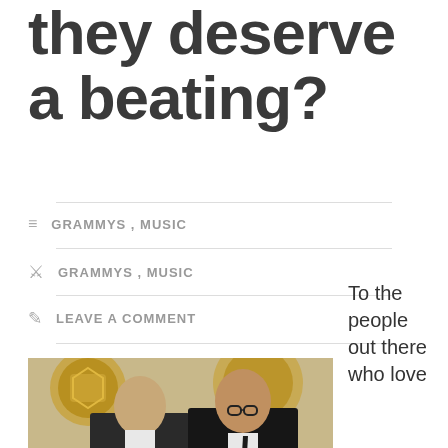they deserve a beating?
GRAMMYS , MUSIC
GRAMMYS , MUSIC
LEAVE A COMMENT
[Figure (photo): Two men in suits posing in front of Grammy award backdrops]
To the people out there who love